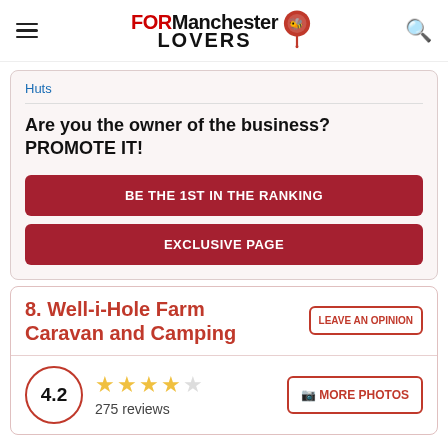FORManchester LOVERS
Huts
Are you the owner of the business? PROMOTE IT!
BE THE 1ST IN THE RANKING
EXCLUSIVE PAGE
8. Well-i-Hole Farm Caravan and Camping
LEAVE AN OPINION
4.2
275 reviews
MORE PHOTOS